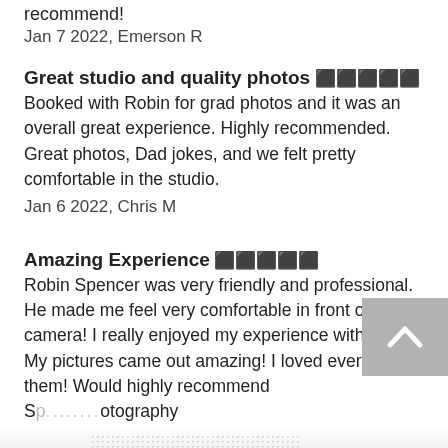recommend!
Jan 7 2022, Emerson R
Great studio and quality photos ⬛⬛⬛⬛⬛
Booked with Robin for grad photos and it was an overall great experience. Highly recommended. Great photos, Dad jokes, and we felt pretty comfortable in the studio.
Jan 6 2022, Chris M
Amazing Experience ⬛⬛⬛⬛⬛
Robin Spencer was very friendly and professional. He made me feel very comfortable in front of the camera! I really enjoyed my experience with him. My pictures came out amazing! I loved every one of them! Would highly recommend Sp...otography